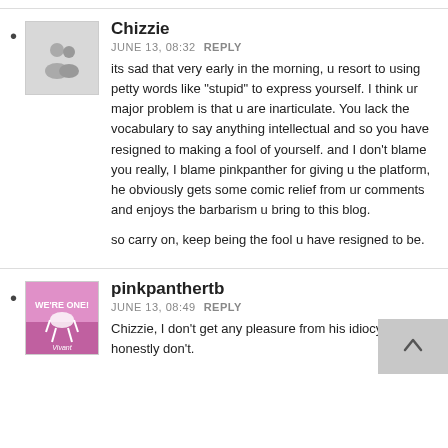Chizzie
JUNE 13, 08:32  REPLY
its sad that very early in the morning, u resort to using petty words like "stupid" to express yourself. I think ur major problem is that u are inarticulate. You lack the vocabulary to say anything intellectual and so you have resigned to making a fool of yourself. and I don't blame you really, I blame pinkpanther for giving u the platform, he obviously gets some comic relief from ur comments and enjoys the barbarism u bring to this blog.

so carry on, keep being the fool u have resigned to be.
pinkpanthertb
JUNE 13, 08:49  REPLY
Chizzie, I don't get any pleasure from his idiocy. I honestly don't.